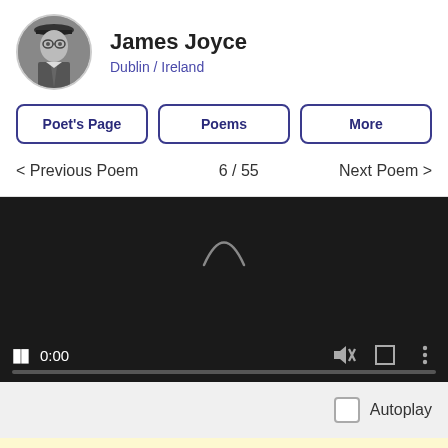[Figure (photo): Circular portrait photo of James Joyce in black and white, wearing a suit and hat]
James Joyce
Dublin / Ireland
Poet's Page
Poems
More
< Previous Poem   6 / 55   Next Poem >
[Figure (screenshot): Video player with dark background, pause button, time 0:00, mute icon, fullscreen icon, more options icon, and progress bar]
Autoplay
By continuing to use our site, you accept our use of cookies. To learn more, click here.